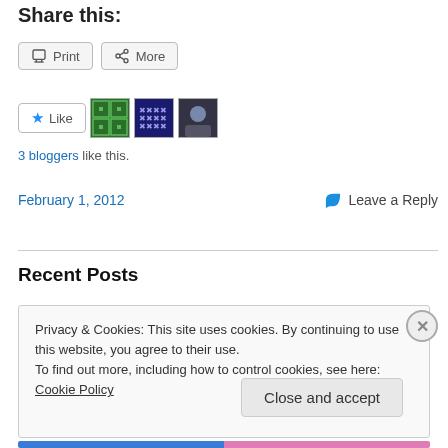Share this:
Print  More
[Figure (other): Like button with star icon, and three blogger avatar thumbnails (green pattern, blue pattern, blue photo)]
3 bloggers like this.
February 1, 2012   Leave a Reply
Recent Posts
Privacy & Cookies: This site uses cookies. By continuing to use this website, you agree to their use.
To find out more, including how to control cookies, see here: Cookie Policy
Close and accept